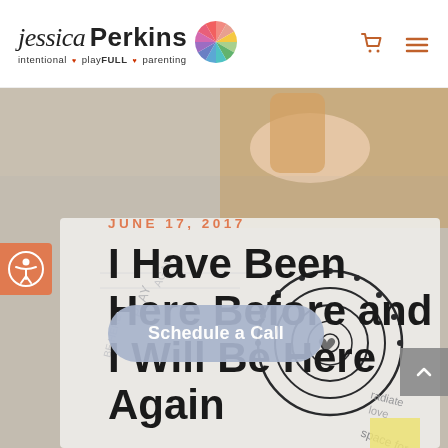[Figure (logo): Jessica Perkins logo with script 'jessica', bold 'Perkins', tagline 'intentional playFULL parenting', and colorful pie/wheel icon]
[Figure (screenshot): Website screenshot showing a blog post header image: a child's hand using a rubber stamp on paper with drawn spirals, hearts, and handwritten words. Date: JUNE 17, 2017. Title: I Have Been Here Before and I Will Be Here Again. Button: Schedule a Call.]
JUNE 17, 2017
I Have Been Here Before and I Will Be Here Again
Schedule a Call